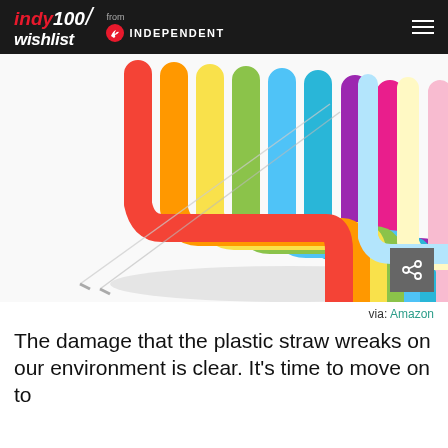indy100/ wishlist from INDEPENDENT
[Figure (photo): Colorful bent silicone reusable straws in rainbow colors (red, orange, yellow, green, teal, blue, purple, pink) arranged in a fan pattern with two thin metal cleaning brushes, on white background]
via: Amazon
The damage that the plastic straw wreaks on our environment is clear. It's time to move on to